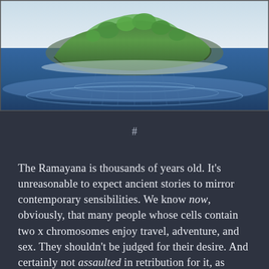[Figure (illustration): Illustration of a lush green tropical island floating above a blue ocean with swirling wave patterns below]
#
The Ramayana is thousands of years old. It's unreasonable to expect ancient stories to mirror contemporary sensibilities. We know now, obviously, that many people whose cells contain two x chromosomes enjoy travel, adventure, and sex. They shouldn't be judged for their desire. And certainly not assaulted in retribution for it, as Shoorpanakha was.
Except that … they are. The New York Times recently ran an article on some of the women who have been attacked while (and quite possibly for)